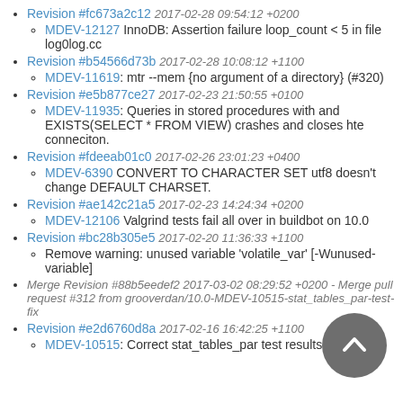Revision #fc673a2c12 2017-02-28 09:54:12 +0200
MDEV-12127 InnoDB: Assertion failure loop_count < 5 in file log0log.cc
Revision #b54566d73b 2017-02-28 10:08:12 +1100
MDEV-11619: mtr --mem {no argument of a directory} (#320)
Revision #e5b877ce27 2017-02-23 21:50:55 +0100
MDEV-11935: Queries in stored procedures with and EXISTS(SELECT * FROM VIEW) crashes and closes hte conneciton.
Revision #fdeeab01c0 2017-02-26 23:01:23 +0400
MDEV-6390 CONVERT TO CHARACTER SET utf8 doesn't change DEFAULT CHARSET.
Revision #ae142c21a5 2017-02-23 14:24:34 +0200
MDEV-12106 Valgrind tests fail all over in buildbot on 10.0
Revision #bc28b305e5 2017-02-20 11:36:33 +1100
Remove warning: unused variable 'volatile_var' [-Wunused-variable]
Merge Revision #88b5eedef2 2017-03-02 08:29:52 +0200 - Merge pull request #312 from grooverdan/10.0-MDEV-10515-stat_tables_par-test-fix
Revision #e2d6760d8a 2017-02-16 16:42:25 +1100
MDEV-10515: Correct stat_tables_par test results